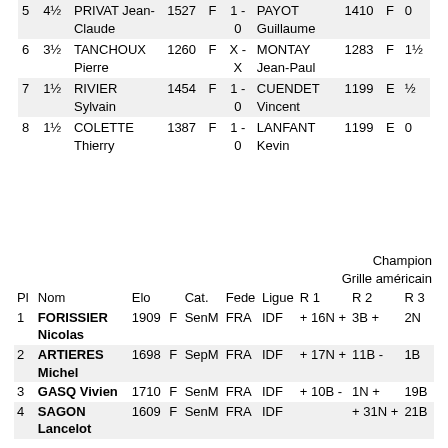| Pl | Pts | Player 1 | Elo | Cat | Result | Player 2 | Elo | Cat | Pts |
| --- | --- | --- | --- | --- | --- | --- | --- | --- | --- |
| 5 | 4½ | PRIVAT Jean-Claude | 1527 | F | 1 - 0 | PAYOT Guillaume | 1410 | F | 0 |
| 6 | 3½ | TANCHOUX Pierre | 1260 | F | X - X | MONTAY Jean-Paul | 1283 | F | 1½ |
| 7 | 1½ | RIVIER Sylvain | 1454 | F | 1 - 0 | CUENDET Vincent | 1199 | E | ½ |
| 8 | 1½ | COLETTE Thierry | 1387 | F | 1 - 0 | LANFANT Kevin | 1199 | E | 0 |
Champion
Grille américain
| Pl | Nom | Elo | Cat. | Fede | Ligue | R 1 | R 2 | R 3 |
| --- | --- | --- | --- | --- | --- | --- | --- | --- |
| 1 | FORISSIER Nicolas | 1909 | F | SenM | FRA | IDF | + 16N + | 3B + 2N |
| 2 | ARTIERES Michel | 1698 | F | SepM | FRA | IDF | + 17N + 11B - | 1B |
| 3 | GASQ Vivien | 1710 | F | SenM | FRA | IDF | + 10B - | 1N + 19B |
| 4 | SAGON Lancelot | 1609 | F | SenM | FRA | IDF |  | + 31N + 21B |